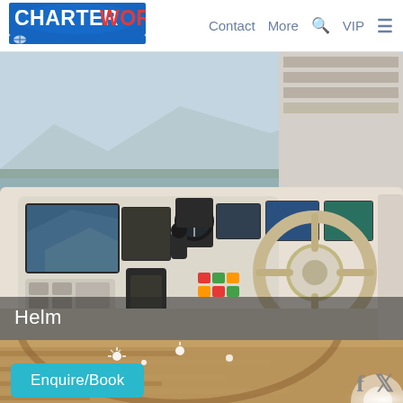CHARTERWORLD  Contact  More  VIP
[Figure (photo): Yacht helm station with navigation screens, steering wheel, control panels, and a marina with mountains visible in the background.]
Helm
[Figure (photo): Interior yacht corridor with warm teak wood paneling and ceiling lights.]
Enquire/Book